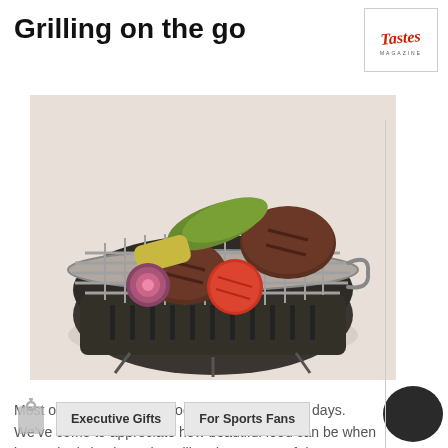Grilling on the go
[Figure (logo): Tastes Magazine logo in red script font inside a bordered box]
[Figure (photo): A portable round charcoal grill with meat burgers and vegetables (peppers, tomatoes) cooking on the grate, viewed from above-angle, on a light background]
Most of us have outdoor cooking facilities these days. We've come to appreciate how beautiful food can be when it's cooked simply on the grill and eaten out of doors. But what about when you're on the go?
[Figure (illustration): Grey price tag icon]
Executive Gifts
For Sports Fans